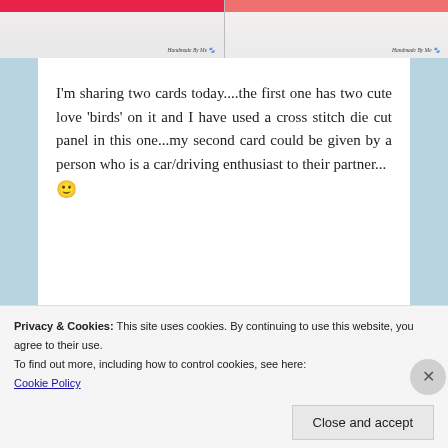[Figure (photo): Two handmade cards shown at top strip — left card partially visible with red background, right card partially visible with red/pink background. Both have 'Handmade By Me' watermarks in bottom right corners.]
I'm sharing two cards today....the first one has two cute love 'birds' on it and I have used a cross stitch die cut panel in this one...my second card could be given by a person who is a car/driving enthusiast to their partner... 🙂
[Figure (photo): Two Valentine's Day handmade cards side by side. Left card: red card with cross-stitch/stamp panel showing 'Happy Valentine's Day' with birds. Right card: coral/orange card with text 'you make my heart RACE' and a blue race car with number 5.]
Privacy & Cookies: This site uses cookies. By continuing to use this website, you agree to their use.
To find out more, including how to control cookies, see here:
Cookie Policy
Close and accept